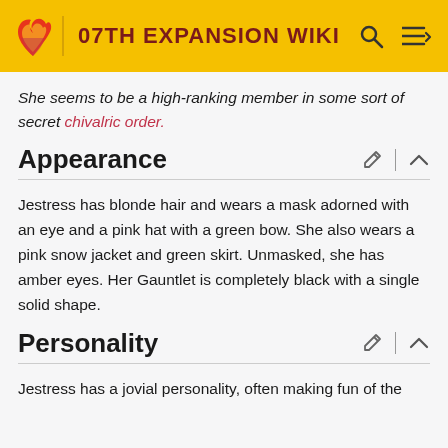07TH EXPANSION WIKI
She seems to be a high-ranking member in some sort of secret chivalric order.
Appearance
Jestress has blonde hair and wears a mask adorned with an eye and a pink hat with a green bow. She also wears a pink snow jacket and green skirt. Unmasked, she has amber eyes. Her Gauntlet is completely black with a single solid shape.
Personality
Jestress has a jovial personality, often making fun of the